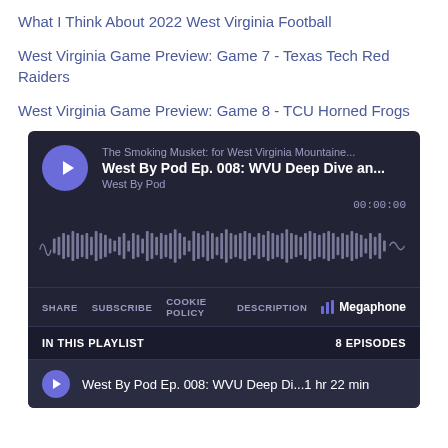What I Think About 2022 West Virginia Football
West Virginia Game Preview: Game 7 - Texas Tech Red Raiders
West Virginia Game Preview: Game 8 - TCU Horned Frogs
[Figure (screenshot): Megaphone podcast player embedded widget showing 'West By Pod Ep. 008: WVU Deep Dive an...' from The Smoking Musket podcast, with waveform, time 00:00:00, share/subscribe/cookie policy/description controls, playlist showing 8 episodes, and first episode 'West By Pod Ep. 008: WVU Deep Di... 1 hr 22 min']